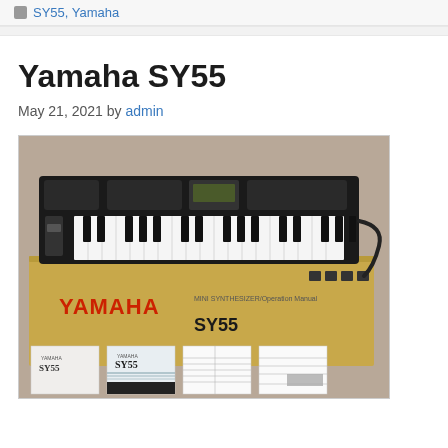SY55, Yamaha
Yamaha SY55
May 21, 2021 by admin
[Figure (photo): Yamaha SY55 synthesizer keyboard on top of its original box, with manuals and documentation spread in front. The keyboard is black with white and black keys, and the box is beige/gold colored with red YAMAHA lettering and SY55 text.]